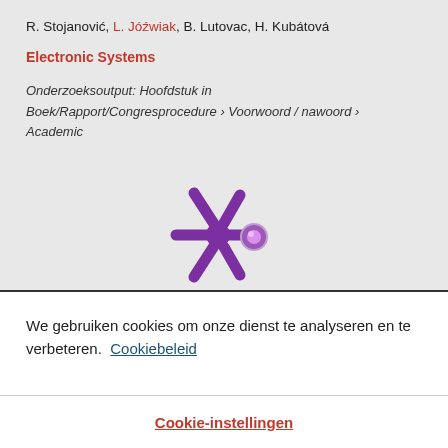R. Stojanović, L. Jóźwiak, B. Lutovac, H. Kubátová
Electronic Systems
Onderzoeksoutput: Hoofdstuk in Boek/Rapport/Congresprocedure › Voorwoord / nawoord › Academic
[Figure (logo): Altmetric-style asterisk/snowflake logo in purple with a small purple circle, on a grey background]
We gebruiken cookies om onze dienst te analyseren en te verbeteren. Cookiebeleid
Cookie-instellingen